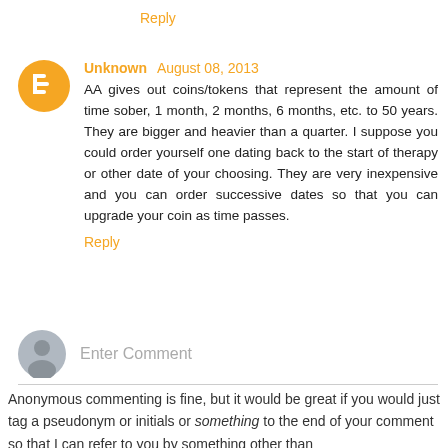Reply
Unknown August 08, 2013
AA gives out coins/tokens that represent the amount of time sober, 1 month, 2 months, 6 months, etc. to 50 years. They are bigger and heavier than a quarter. I suppose you could order yourself one dating back to the start of therapy or other date of your choosing. They are very inexpensive and you can order successive dates so that you can upgrade your coin as time passes.
Reply
Enter Comment
Anonymous commenting is fine, but it would be great if you would just tag a pseudonym or initials or something to the end of your comment so that I can refer to you by something other than